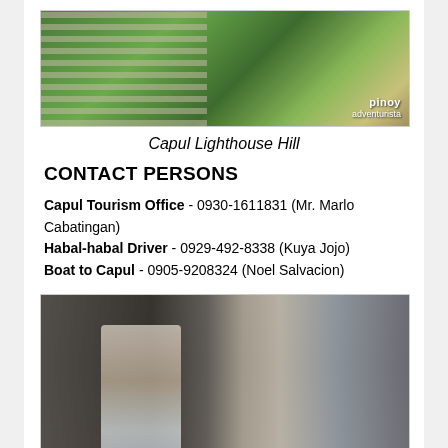[Figure (photo): Aerial or hillside view of Capul Lighthouse Hill showing stone steps and lush green vegetation with a 'pinoy adventurista' watermark in the bottom right corner.]
Capul Lighthouse Hill
CONTACT PERSONS
Capul Tourism Office - 0930-1611831 (Mr. Marlo Cabatingan)
Habal-habal Driver - 0929-492-8338 (Kuya Jojo)
Boat to Capul - 0905-9208324 (Noel Salvacion)
[Figure (photo): Person standing in a long stone corridor or hallway of what appears to be an old Spanish-era church or fort, with light visible at the far end.]